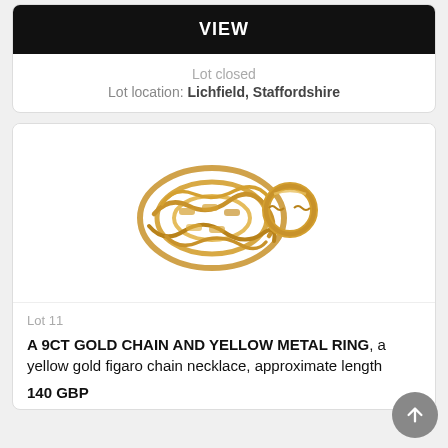VIEW
Lot closed
Lot location: Lichfield, Staffordshire
[Figure (photo): A yellow gold figaro chain necklace coiled up alongside a yellow metal ring with decorative patterning, photographed on white background.]
Lot 11
A 9CT GOLD CHAIN AND YELLOW METAL RING, a yellow gold figaro chain necklace, approximate length
140 GBP